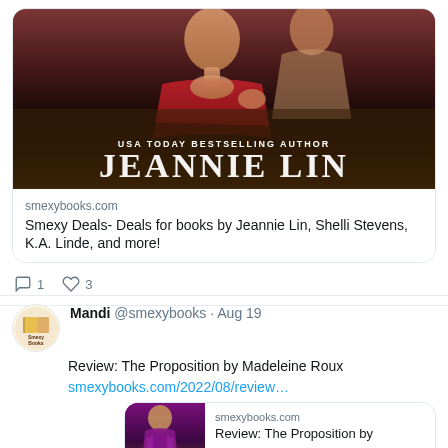[Figure (screenshot): Twitter/social media feed showing two tweets from Smexy Books. First tweet has a book cover card for Jeannie Lin with link to smexybooks.com showing deals for Jeannie Lin, Shelli Stevens, K.A. Linde books. Second tweet from Mandi @smexybooks Aug 19 reviewing The Proposition by Madeleine Roux with link to smexybooks.com/2022/08/review...]